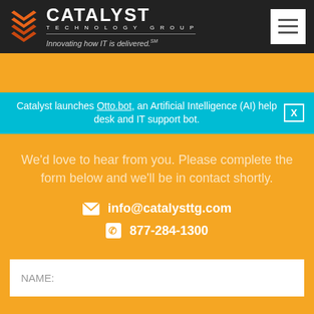[Figure (logo): Catalyst Technology Group logo with orange arrow/chevron icon, white bold text 'CATALYST', tagline 'Innovating how IT is delivered.']
Catalyst launches Otto.bot, an Artificial Intelligence (AI) help desk and IT support bot.
We'd love to hear from you. Please complete the form below and we'll be in contact shortly.
info@catalysttg.com
877-284-1300
NAME: